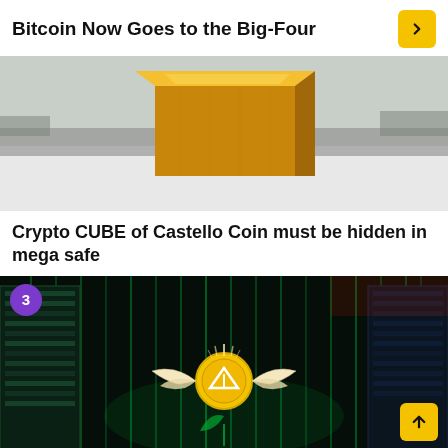Bitcoin Now Goes to the Big-Four
[Figure (photo): A gold metallic cube sculpture sitting in a snowy outdoor setting with a road and landscape in the background.]
Crypto CUBE of Castello Coin must be hidden in mega safe
[Figure (photo): A data center corridor with glowing green digital code overlay, featuring a floating golden coin with wings and a Tron symbol, numbered badge '3' in top left corner, and a yellow scroll-up button in bottom right.]